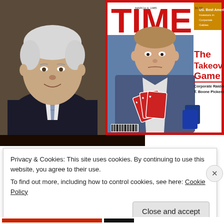[Figure (photo): Elderly man in dark suit and striped tie, smiling, photographed at an event]
[Figure (photo): TIME magazine cover featuring T. Boone Pickens holding playing cards, headlined 'The Takeover Game — Corporate Raider T. Boone Pickens']
Privacy & Cookies: This site uses cookies. By continuing to use this website, you agree to their use.
To find out more, including how to control cookies, see here: Cookie Policy
Close and accept